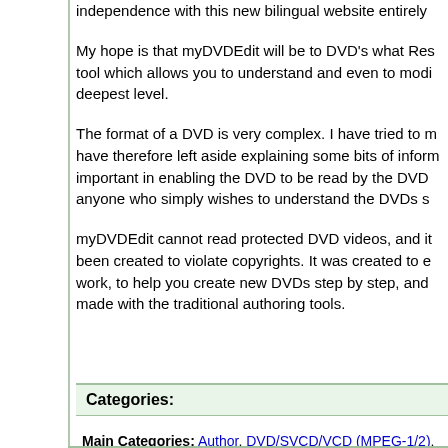independence with this new bilingual website entirely...
My hope is that myDVDEdit will be to DVD's what Res... tool which allows you to understand and even to modi... deepest level.
The format of a DVD is very complex. I have tried to m... have therefore left aside explaining some bits of inform... important in enabling the DVD to be read by the DVD ... anyone who simply wishes to understand the DVDs s...
myDVDEdit cannot read protected DVD videos, and it... been created to violate copyrights. It was created to e... work, to help you create new DVDs step by step, and ... made with the traditional authoring tools.
Categories:
Main Categories: Author, DVD/SVCD/VCD (MPEG-1/2), Edit, Mac OS
Sub Categories:
Authoring/Burning/Imaging -> DVD Authoring